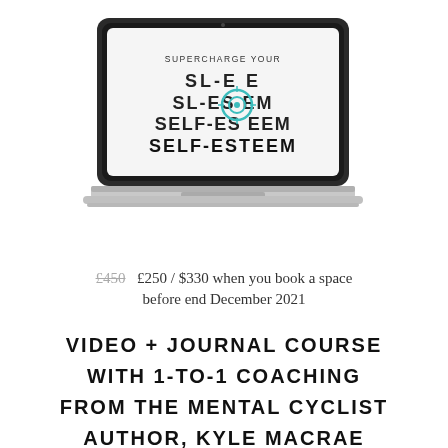[Figure (illustration): Laptop computer showing a self-esteem course screen. The screen displays 'SUPERCHARGE YOUR' at the top and four lines of text animating in: 'SL-E E', 'SL-ES EM', 'SELF-ES EEM', 'SELF-ESTEEM', with a teal/cyan circular target icon overlaid.]
£450  £250 / $330 when you book a space before end December 2021
VIDEO + JOURNAL COURSE WITH 1-TO-1 COACHING FROM THE MENTAL CYCLIST AUTHOR, KYLE MACRAE